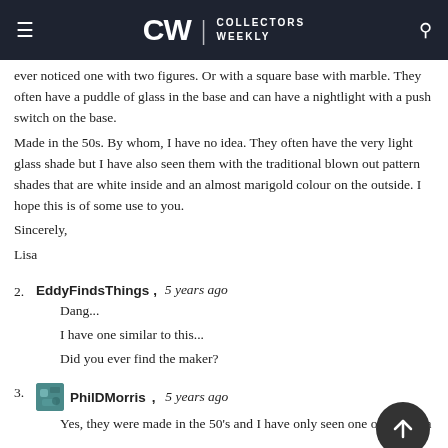CW | COLLECTORS WEEKLY
ever noticed one with two figures. Or with a square base with marble. They often have a puddle of glass in the base and can have a nightlight with a push switch on the base.
Made in the 50s. By whom, I have no idea. They often have the very light glass shade but I have also seen them with the traditional blown out pattern shades that are white inside and an almost marigold colour on the outside. I hope this is of some use to you.
Sincerely,
Lisa
EddyFindsThings, 5 years ago
Dang...
I have one similar to this...
Did you ever find the maker?
PhilDMorris, 5 years ago
Yes, they were made in the 50's and I have only seen one other that a